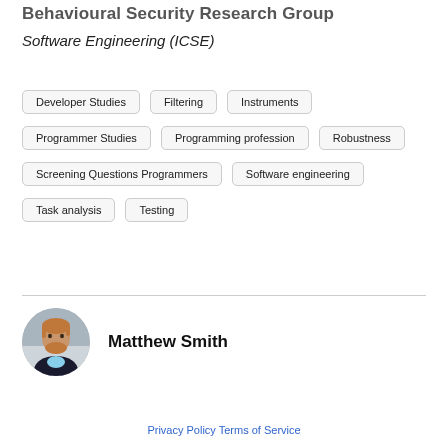Behavioural Security Research Group
Software Engineering (ICSE)
Developer Studies
Filtering
Instruments
Programmer Studies
Programming profession
Robustness
Screening Questions Programmers
Software engineering
Task analysis
Testing
[Figure (photo): Circular profile photo of Matthew Smith, a man with reddish-blond beard and hair wearing a dark jacket with light blue shirt]
Matthew Smith
Privacy Policy Terms of Service